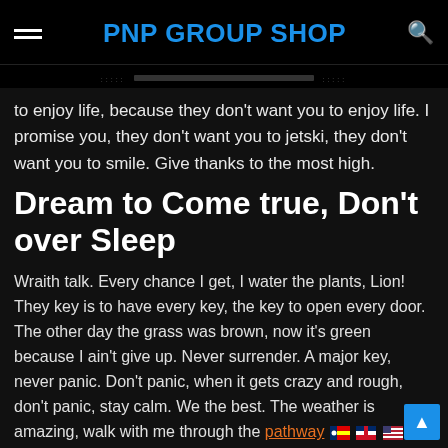PNP GROUP SHOP
to enjoy life, because they don't want you to enjoy life. I promise you, they don't want you to jetski, they don't want you to smile. Give thanks to the most high.
Dream to Come true, Don't over Sleep
Wraith talk. Every chance I get, I water the plants, Lion! They key is to have every key, the key to open every door. The other day the grass was brown, now it's green because I ain't give up. Never surrender. A major key, never panic. Don't panic, when it gets crazy and rough, don't panic, stay calm. We the best. The weather is amazing, walk with me through the pathway more success. Take this journey with me, Lion!